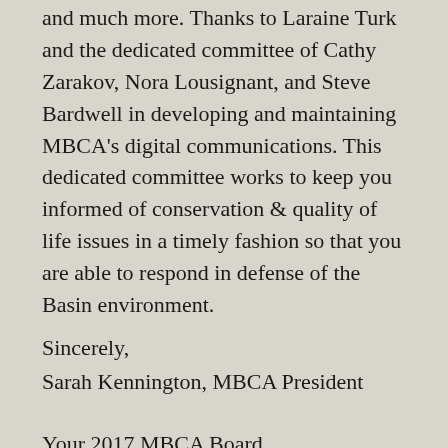and much more. Thanks to Laraine Turk and the dedicated committee of Cathy Zarakov, Nora Lousignant, and Steve Bardwell in developing and maintaining MBCA's digital communications. This dedicated committee works to keep you informed of conservation & quality of life issues in a timely fashion so that you are able to respond in defense of the Basin environment.
Sincerely,
Sarah Kennington, MBCA President
Your 2017 MBCA Board
David Fick, Vice President
 Laraine Turk, Director
Steve Bardwell, Treasurer M...